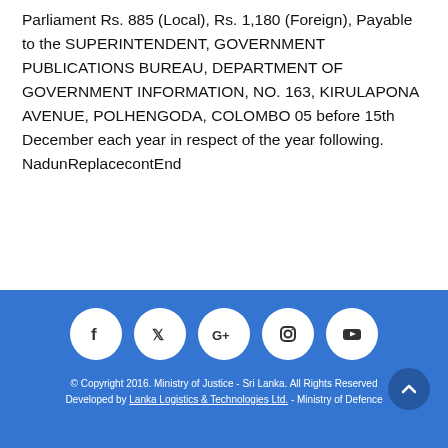Parliament Rs. 885 (Local), Rs. 1,180 (Foreign), Payable to the SUPERINTENDENT, GOVERNMENT PUBLICATIONS BUREAU, DEPARTMENT OF GOVERNMENT INFORMATION, NO. 163, KIRULAPONA AVENUE, POLHENGODA, COLOMBO 05 before 15th December each year in respect of the year following. NadunReplacecontEnd
© Copyright 2016. Ministry of Justice - Sri Lanka. All Rights Reserved. Developed by Lanka Logistics & Technologies Ltd. - Ministry of Defence